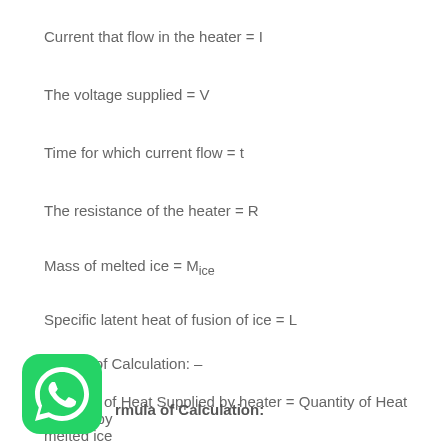Current that flow in the heater = I
The voltage supplied = V
Time for which current flow = t
The resistance of the heater = R
Mass of melted ice = M_ice
Specific latent heat of fusion of ice = L
Theory of Calculation: –
Quantity of Heat Supplied by heater = Quantity of Heat Gained by melted ice
Formula of Calculation: